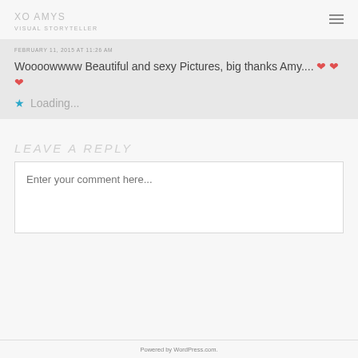XO AMYS
VISUAL STORYTELLER
FEBRUARY 11, 2015 AT 11:26 AM
Woooowwww Beautiful and sexy Pictures, big thanks Amy.... ❤ ❤ ❤
★ Loading...
LEAVE A REPLY
Enter your comment here...
Powered by WordPress.com.